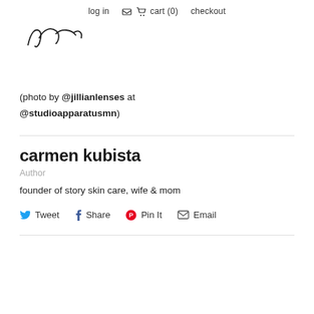log in  cart (0)  checkout
[Figure (illustration): Handwritten cursive signature in black ink, partially visible, reading something like 'Car...']
(photo by @jillianlenses at @studioapparatusmn)
carmen kubista
Author
founder of story skin care, wife & mom
Tweet  Share  Pin It  Email